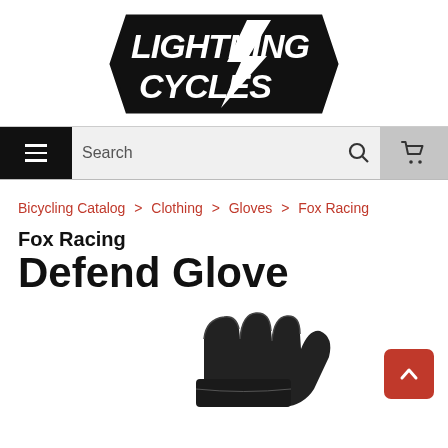[Figure (logo): Lightning Cycles logo — bold italic white text on black thunderbolt/chevron shape with lightning bolt accent]
[Figure (screenshot): Navigation bar with hamburger menu (black), search bar, search icon, and cart button (gray)]
Bicycling Catalog > Clothing > Gloves > Fox Racing
Fox Racing Defend Glove
[Figure (photo): Partial photo of a black Fox Racing Defend Glove on white background]